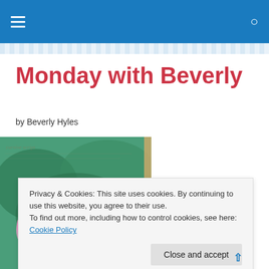Navigation bar with hamburger menu and search icon
Monday with Beverly
by Beverly Hyles
[Figure (photo): Two pink roses with green foliage background, close-up photograph with decorative border]
Privacy & Cookies: This site uses cookies. By continuing to use this website, you agree to their use.
To find out more, including how to control cookies, see here: Cookie Policy
Close and accept